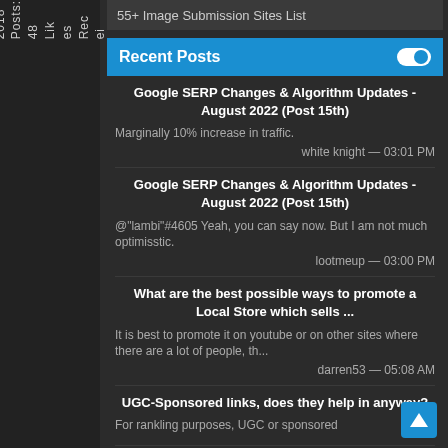ned: Apr 2018 Posts: 48 Likes Received:
55+ Image Submission Sites List
Recent Posts
Google SERP Changes & Algorithm Updates - August 2022 (Post 15th)
Marginally 10% increase in traffic.
white knight — 03:01 PM
Google SERP Changes & Algorithm Updates - August 2022 (Post 15th)
@"lambi"#4605 Yeah, you can say now. But I am not much optimisstic.
lootmeup — 03:00 PM
What are the best possible ways to promote a Local Store which sells ...
It is best to promote it on youtube or on other sites where there are a lot of people, th...
darren53 — 05:08 AM
UGC-Sponsored links, does they help in anyway?
For rankling purposes, UGC or sponsored